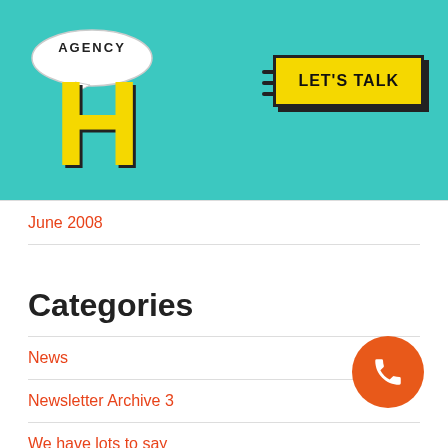[Figure (logo): Agency H logo with speech bubble and large yellow H letter on teal header background]
June 2008
Categories
News
Newsletter Archive 3
We have lots to say
Meta